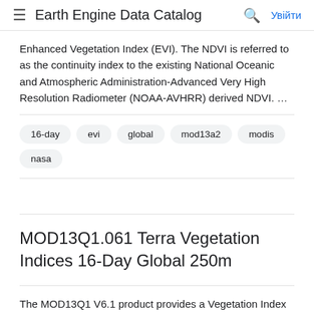Earth Engine Data Catalog  Увійти
Enhanced Vegetation Index (EVI). The NDVI is referred to as the continuity index to the existing National Oceanic and Atmospheric Administration-Advanced Very High Resolution Radiometer (NOAA-AVHRR) derived NDVI. …
16-day
evi
global
mod13a2
modis
nasa
MOD13Q1.061 Terra Vegetation Indices 16-Day Global 250m
The MOD13Q1 V6.1 product provides a Vegetation Index (VI) value at a per pixel basis. There are two primary vegetation layers. The first is the Normalized Difference Vegetation Index